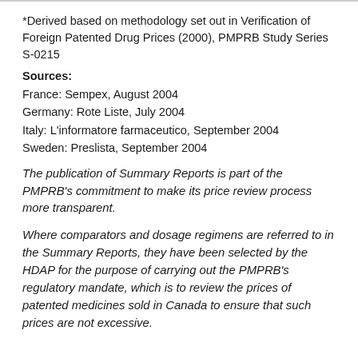*Derived based on methodology set out in Verification of Foreign Patented Drug Prices (2000), PMPRB Study Series S-0215
Sources:
France: Sempex, August 2004
Germany: Rote Liste, July 2004
Italy: L'informatore farmaceutico, September 2004
Sweden: Preslista, September 2004
The publication of Summary Reports is part of the PMPRB's commitment to make its price review process more transparent.
Where comparators and dosage regimens are referred to in the Summary Reports, they have been selected by the HDAP for the purpose of carrying out the PMPRB's regulatory mandate, which is to review the prices of patented medicines sold in Canada to ensure that such prices are not excessive.